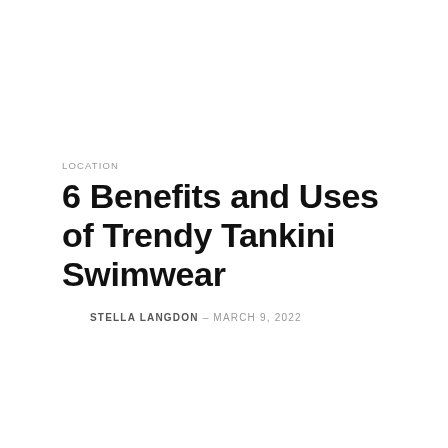LOCATION
6 Benefits and Uses of Trendy Tankini Swimwear
STELLA LANGDON – MARCH 9, 2022